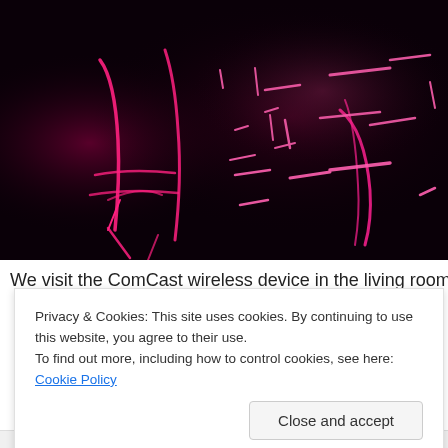[Figure (photo): Dark photo showing glowing pink/magenta neon light streaks and shapes against a black background, resembling long-exposure light painting of furniture or room objects.]
We visit the ComCast wireless device in the living room
Privacy & Cookies: This site uses cookies. By continuing to use this website, you agree to their use.
To find out more, including how to control cookies, see here: Cookie Policy